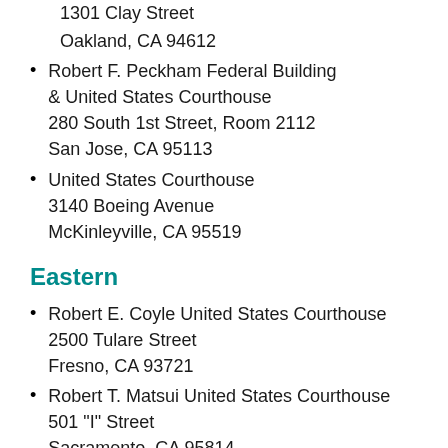1301 Clay Street
Oakland, CA 94612
Robert F. Peckham Federal Building & United States Courthouse
280 South 1st Street, Room 2112
San Jose, CA 95113
United States Courthouse
3140 Boeing Avenue
McKinleyville, CA 95519
Eastern
Robert E. Coyle United States Courthouse
2500 Tulare Street
Fresno, CA 93721
Robert T. Matsui United States Courthouse
501 "I" Street
Sacramento, CA 95814
Central